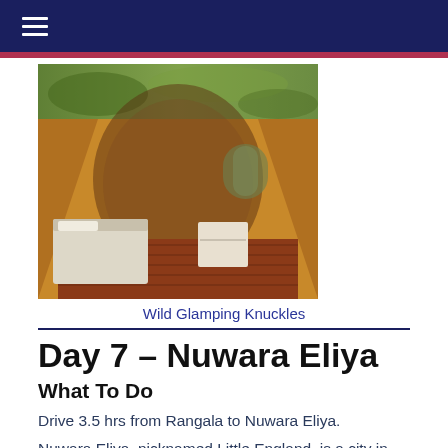[Figure (photo): Navigation bar with hamburger menu icon on dark navy background]
[Figure (photo): Composite photo of glamping tent interior showing bed, wooden floor, and tent canvas with arched windows, with aerial landscape view at top]
Wild Glamping Knuckles
Day 7 – Nuwara Eliya
What To Do
Drive 3.5 hrs from Rangala to Nuwara Eliya.
Nuwara Eliya, nicknamed Little England, is a city in